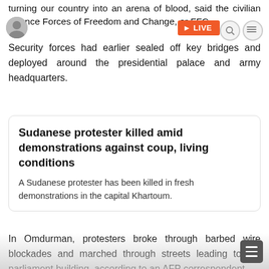turning our country into an arena of blood, said the civilian alliance Forces of Freedom and Change, or FFC.
Security forces had earlier sealed off key bridges and deployed around the presidential palace and army headquarters.
Sudanese protester killed amid demonstrations against coup, living conditions
A Sudanese protester has been killed in fresh demonstrations in the capital Khartoum.
In Omdurman, protesters broke through barbed wire blockades and marched through streets leading to the parliament building, according to an AFP correspondent.
Protesters marched in the eastern state of Gedaref with banners that read "No to military rule" and "Away with the government of hunger", said one witness, Ahmed Salah.
Demonstrations were also held in several cities across t...